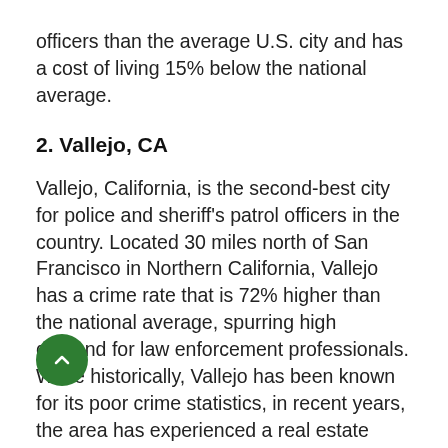officers than the average U.S. city and has a cost of living 15% below the national average.
2. Vallejo, CA
Vallejo, California, is the second-best city for police and sheriff's patrol officers in the country. Located 30 miles north of San Francisco in Northern California, Vallejo has a crime rate that is 72% higher than the national average, spurring high demand for law enforcement professionals. While historically, Vallejo has been known for its poor crime statistics, in recent years, the area has experienced a real estate boom as the hot San Francisco Bay Area housing market has pushed many buyers to more affordable areas. Given proximity to San Francisco, many young professionals have found Vallejo to be an ideal place to...